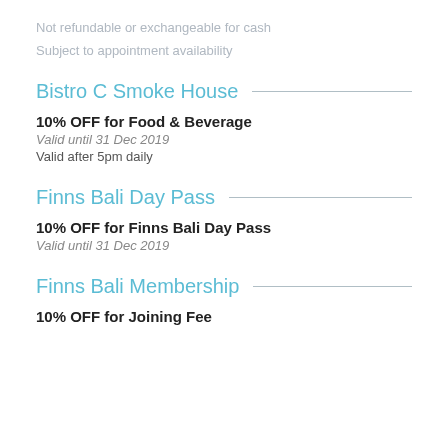Not refundable or exchangeable for cash
Subject to appointment availability
Bistro C Smoke House
10% OFF for Food & Beverage
Valid until 31 Dec 2019
Valid after 5pm daily
Finns Bali Day Pass
10% OFF for Finns Bali Day Pass
Valid until 31 Dec 2019
Finns Bali Membership
10% OFF for Joining Fee